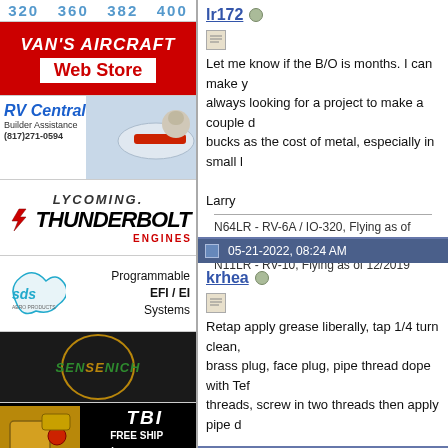[Figure (other): Numbers bar showing 320 360 382 400 in blue]
[Figure (other): Van's Aircraft Web Store advertisement - red background]
[Figure (other): RV Central Builder Assistance advertisement with airplane photo]
[Figure (other): Lycoming Thunderbolt Engines advertisement]
[Figure (other): SDS Aero Products - Programmable EFI/EI Systems advertisement]
[Figure (other): Sensenich propeller advertisement]
[Figure (other): TBI Free Ship $849 MkII 0-320 0-360 VAF Forum Sale advertisement]
lr172
Let me know if the B/O is months. I can make y always looking for a project to make a couple d bucks as the cost of metal, especially in small l
Larry
N64LR - RV-6A / IO-320, Flying as of 8/2015
N11LR - RV-10, Flying as of 12/2019
05-21-2022, 08:24 AM
krhea
Retap apply grease liberally, tap 1/4 turn clean, brass plug, face plug, pipe thread dope with Tef threads, screw in two threads then apply pipe d
Keith Rhea